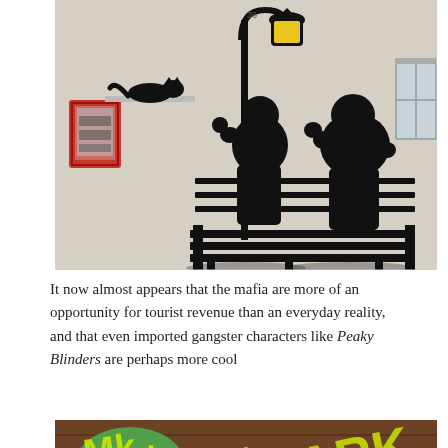[Figure (photo): Street art installation on a white wall showing black silhouettes of two people sitting on a bench talking, a decorative street lamp with yellow light, a cat silhouette on a ledge, and a red fire safety box on the wall. A window is visible on the right.]
It now almost appears that the mafia are more of an opportunity for tourist revenue than an everyday reality, and that even imported gangster characters like Peaky Blinders are perhaps more cool
[Figure (photo): A shop front or stall with colourful graffiti on a brown roller shutter. The graffiti includes green, yellow and purple spray-painted text/tags. Below the shutter, black and pink clothing items are hung on a rail.]